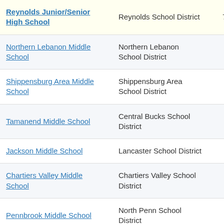| School | District | Grades | Value |
| --- | --- | --- | --- |
| Reynolds Junior/Senior High School | Reynolds School District | 7-10 | -1. |
| Northern Lebanon Middle School | Northern Lebanon School District | 6-8 | -3. |
| Shippensburg Area Middle School | Shippensburg Area School District | 6-8 | -2. |
| Tamanend Middle School | Central Bucks School District | 7-9 | -3. |
| Jackson Middle School | Lancaster School District | 6-8 | -3. |
| Chartiers Valley Middle School | Chartiers Valley School District | 6-8 | -2. |
| Pennbrook Middle School | North Penn School District | 6-9 | -3. |
| Philipsburg-... | Philipsburg- |  |  |